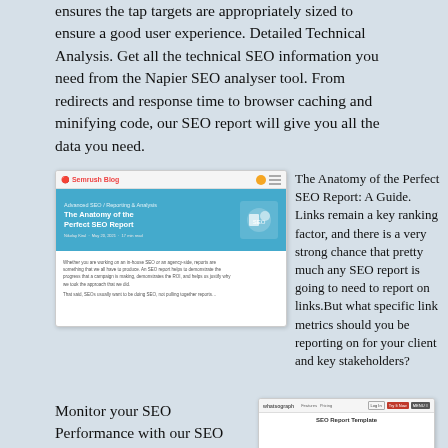ensures the tap targets are appropriately sized to ensure a good user experience. Detailed Technical Analysis. Get all the technical SEO information you need from the Napier SEO analyser tool. From redirects and response time to browser caching and minifying code, our SEO report will give you all the data you need.
[Figure (screenshot): Screenshot of a blog post titled 'The Anatomy of the Perfect SEO Report' on a website with a teal hero section and body text below.]
The Anatomy of the Perfect SEO Report: A Guide. Links remain a key ranking factor, and there is a very strong chance that pretty much any SEO report is going to need to report on links.But what specific link metrics should you be reporting on for your client and key stakeholders?
Monitor your SEO Performance with our SEO Report
[Figure (screenshot): Screenshot of the whatsograph website with a navigation bar showing Features, Pricing, Log In, Try It Now, and Menu buttons, and a heading 'SEO Report Template'.]